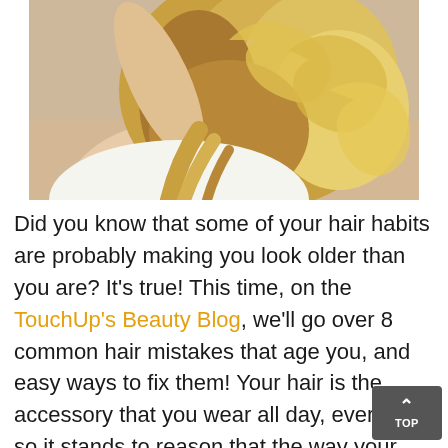[Figure (photo): Photo of a blonde woman with wavy/curly hair, viewed from behind, with her arm raised up]
Did you know that some of your hair habits are probably making you look older than you are? It's true! This time, on the TouchUp's Beauty Blog, we'll go over 8 common hair mistakes that age you, and easy ways to fix them! Your hair is the accessory that you wear all day, every day, so it stands to reason that the way your hair looks affects the rest of your appearance!
If we allow ourselves to fall into a certain routine for too long, we may end up aging ourselves, so it's good to take risks and make changes!